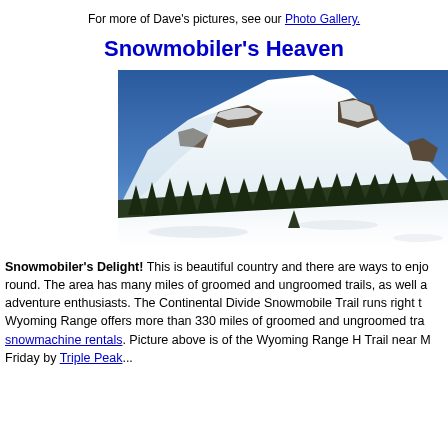For more of Dave's pictures, see our Photo Gallery.
Snowmobiler's Heaven
[Figure (photo): Snow-covered mountain with evergreen trees and deep snow in the Wyoming Range, blue sky in background.]
Snowmobiler's Delight! This is beautiful country and there are ways to enjoy it year round. The area has many miles of groomed and ungroomed trails, as well as adventure enthusiasts. The Continental Divide Snowmobile Trail runs right through. Wyoming Range offers more than 330 miles of groomed and ungroomed trails. snowmachine rentals. Picture above is of the Wyoming Range H Trail near M... Friday by Triple Peak...